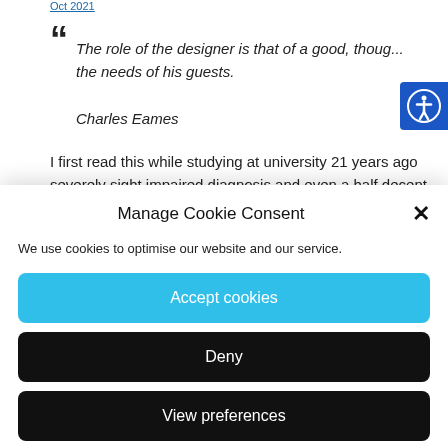Oct 2021
“ The role of the designer is that of a good, thoughtful host anticipating the needs of his guests.
Charles Eames
I first read this while studying at university 21 years ago ... severely sight impaired diagnosis and even a half decent unde...
Manage Cookie Consent
We use cookies to optimise our website and our service.
Accept cookies
Deny
View preferences